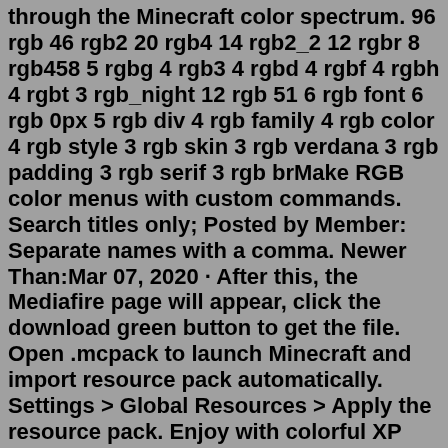through the Minecraft color spectrum. 96 rgb 46 rgb2 20 rgb4 14 rgb2_2 12 rgbr 8 rgb458 5 rgbg 4 rgb3 4 rgbd 4 rgbf 4 rgbh 4 rgbt 3 rgb_night 12 rgb 51 6 rgb font 6 rgb 0px 5 rgb div 4 rgb family 4 rgb color 4 rgb style 3 rgb skin 3 rgb verdana 3 rgb padding 3 rgb serif 3 rgb brMake RGB color menus with custom commands. Search titles only; Posted by Member: Separate names with a comma. Newer Than:Mar 07, 2020 · After this, the Mediafire page will appear, click the download green button to get the file. Open .mcpack to launch Minecraft and import resource pack automatically. Settings > Global Resources > Apply the resource pack. Enjoy with colorful XP Bar and some UI Inventory screens! ;D. Minecraft Colors There are many colors in the Minecraft logo. It has a combination of black, dark blue, dark green, dark aqua, dark red, dark purple, gold, gray, dark gray, blue, green, aqua, red, light purple, yellow and white. In the below table you will find this brand's color codes like RGB, Hex, Chat code, MOTD code. Minecraft Bedrock Game Version LP444 • last week